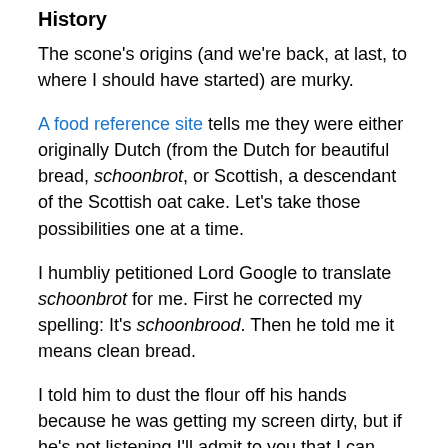History
The scone's origins (and we're back, at last, to where I should have started) are murky.
A food reference site tells me they were either originally Dutch (from the Dutch for beautiful bread, schoonbrot, or Scottish, a descendant of the Scottish oat cake. Let's take those possibilities one at a time.
I humbliy petitioned Lord Google to translate schoonbrot for me. First he corrected my spelling: It's schoonbrood. Then he told me it means clean bread.
I told him to dust the flour off his hands because he was getting my screen dirty, but if he's not listening I'll admit to you that I can actually see a connection there.
I slipped a few more words into his all-devouring maw and